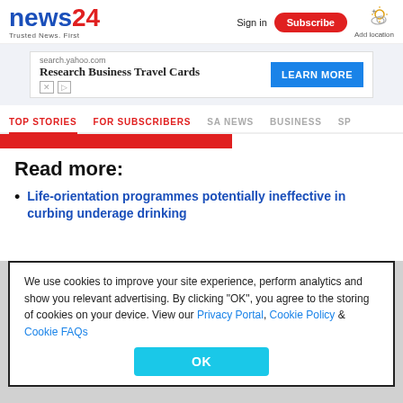news24 Trusted News. First | Sign in | Subscribe | Add location
[Figure (screenshot): Advertisement banner: search.yahoo.com - Research Business Travel Cards - LEARN MORE button]
TOP STORIES | FOR SUBSCRIBERS | SA NEWS | BUSINESS | SP
Read more:
Life-orientation programmes potentially ineffective in curbing underage drinking
We use cookies to improve your site experience, perform analytics and show you relevant advertising. By clicking "OK", you agree to the storing of cookies on your device. View our Privacy Portal, Cookie Policy & Cookie FAQs